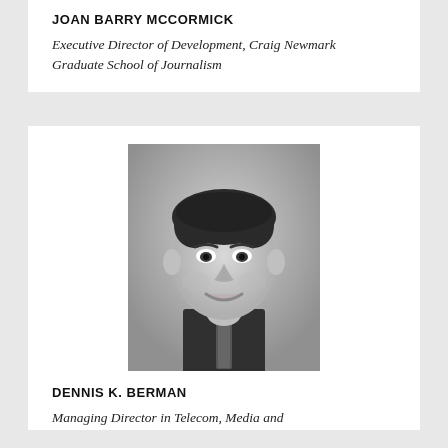JOAN BARRY MCCORMICK
Executive Director of Development, Craig Newmark Graduate School of Journalism
[Figure (photo): Black and white headshot of Dennis K. Berman, a man with dark curly hair wearing a suit and patterned tie, smiling.]
DENNIS K. BERMAN
Managing Director in Telecom, Media and Entertainment, Lazard